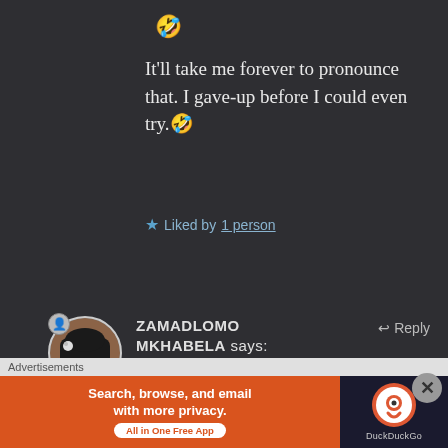🤣
It'll take me forever to pronounce that. I gave-up before I could even try.🤣
★ Liked by 1 person
ZAMADLOMO MKHABELA says: Jun 27, 2020 at 6:40 PM
🤣🤣 I know right!
Advertisements
[Figure (screenshot): DuckDuckGo advertisement banner: orange background with text 'Search, browse, and email with more privacy. All in One Free App' and DuckDuckGo logo on dark background]